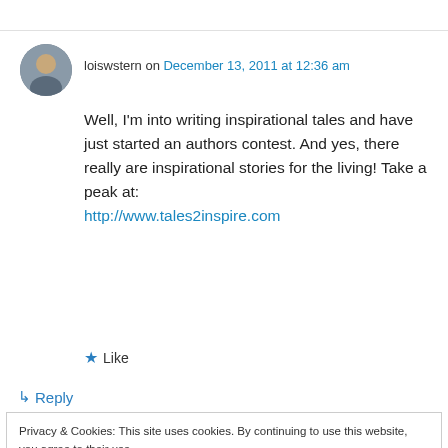loiswstern on December 13, 2011 at 12:36 am
Well, I'm into writing inspirational tales and have just started an authors contest. And yes, there really are inspirational stories for the living! Take a peak at:
http://www.tales2inspire.com
★ Like
↳ Reply
Privacy & Cookies: This site uses cookies. By continuing to use this website, you agree to their use.
To find out more, including how to control cookies, see here: Cookie Policy
Close and accept